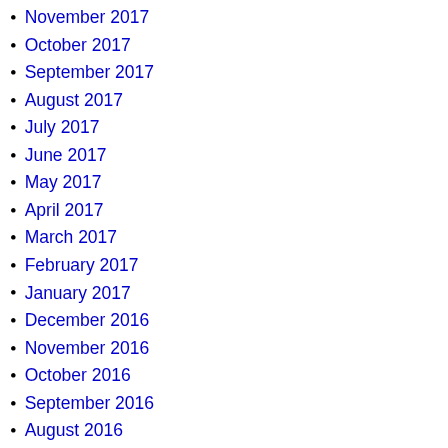November 2017
October 2017
September 2017
August 2017
July 2017
June 2017
May 2017
April 2017
March 2017
February 2017
January 2017
December 2016
November 2016
October 2016
September 2016
August 2016
July 2016
June 2016
May 2016
April 2016
March 2016
February 2016
January 2016
December 2015
November 2015